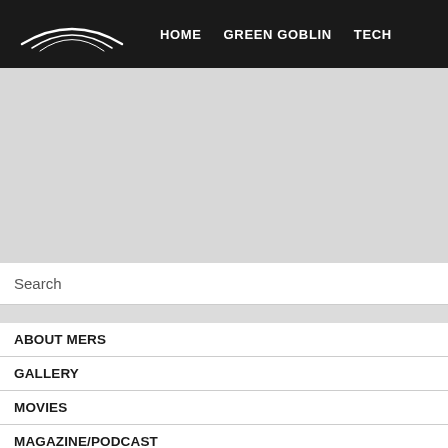HOME  GREEN GOBLIN  TECH
[Figure (illustration): Gray banner/image placeholder area below navigation bar]
Search
ABOUT MERS
GALLERY
MOVIES
MAGAZINE/PODCAST
FIA / KAK / MSEF / SBF / SFI